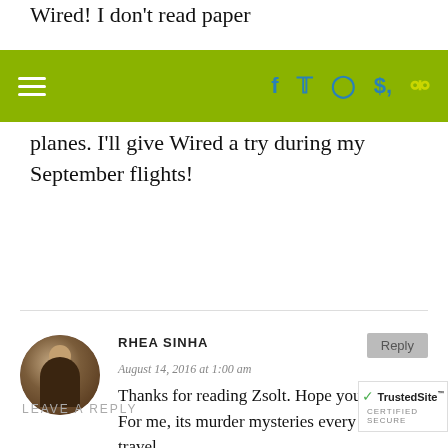Wired! I don't read paper planes. I'll give Wired a try during my September flights!
Navigation bar with hamburger menu, social icons (f, Twitter, Instagram, Pinterest) and search icon
RHEA SINHA
August 14, 2016 at 1:00 am
Thanks for reading Zsolt. Hope you like it. For me, its murder mysteries every time I travel.
LEAVE A REPLY